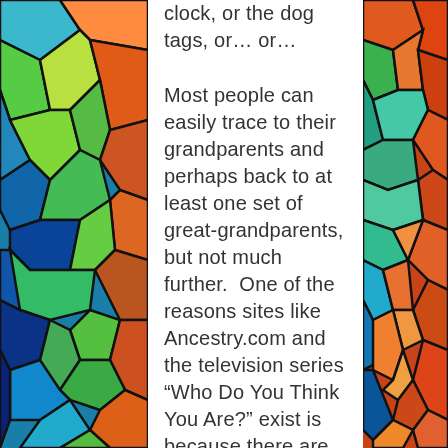[Figure (illustration): Colorful stained-glass style abstract art panels on left and right sides of the page, with bright blues, greens, yellows, reds, and oranges in irregular cell patterns with dark outlines.]
clock, or the dog tags, or… or…
Most people can easily trace to their grandparents and perhaps back to at least one set of great-grandparents, but not much further.  One of the reasons sites like Ancestry.com and the television series “Who Do You Think You Are?” exist is because there are many who understand the importance of documenting these things, at least the paper things, while you can. In this